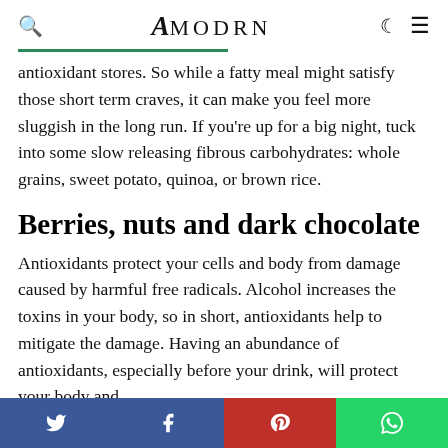amodrn
antioxidant stores. So while a fatty meal might satisfy those short term craves, it can make you feel more sluggish in the long run. If you're up for a big night, tuck into some slow releasing fibrous carbohydrates: whole grains, sweet potato, quinoa, or brown rice.
Berries, nuts and dark chocolate
Antioxidants protect your cells and body from damage caused by harmful free radicals. Alcohol increases the toxins in your body, so in short, antioxidants help to mitigate the damage. Having an abundance of antioxidants, especially before your drink, will protect your body and